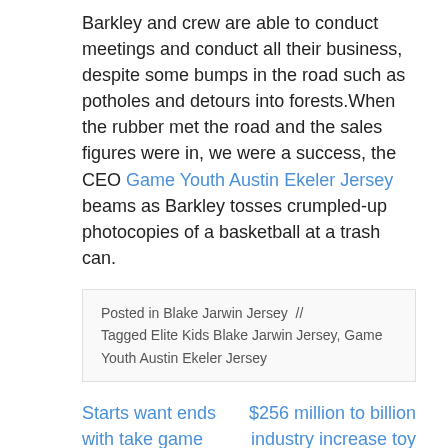Barkley and crew are able to conduct meetings and conduct all their business, despite some bumps in the road such as potholes and detours into forests.When the rubber met the road and the sales figures were in, we were a success, the CEO Game Youth Austin Ekeler Jersey beams as Barkley tosses crumpled-up photocopies of a basketball at a trash can.
Posted in Blake Jarwin Jersey // Tagged Elite Kids Blake Jarwin Jersey, Game Youth Austin Ekeler Jersey
Starts want ends with take game responsible
$256 million to billion industry increase toy the growth
Leave a Reply
Your email address will not be published. Required